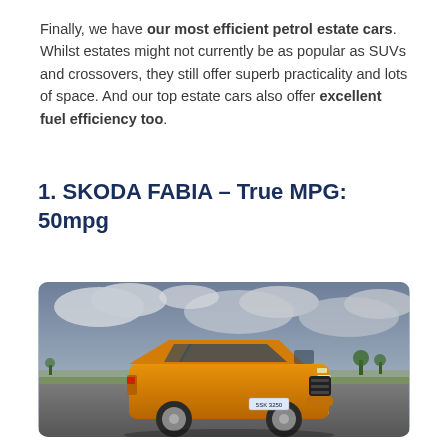Finally, we have our most efficient petrol estate cars. Whilst estates might not currently be as popular as SUVs and crossovers, they still offer superb practicality and lots of space. And our top estate cars also offer excellent fuel efficiency too.
1. SKODA FABIA – True MPG: 50mpg
[Figure (photo): An orange Skoda Fabia driving on a road with a cloudy sky and rural landscape in the background.]